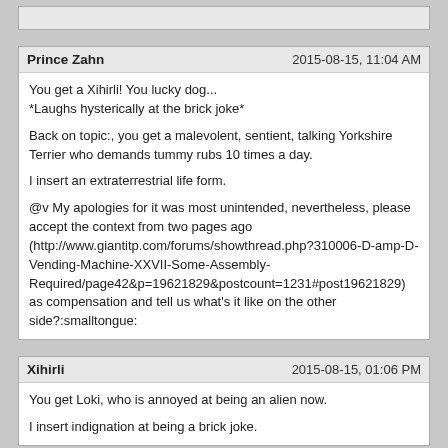[partial top bar]
Prince Zahn | 2015-08-15, 11:04 AM
You get a Xihirli! You lucky dog...
*Laughs hysterically at the brick joke*

Back on topic:, you get a malevolent, sentient, talking Yorkshire Terrier who demands tummy rubs 10 times a day.

I insert an extraterrestrial life form.

@v My apologies for it was most unintended, nevertheless, please accept the context from two pages ago (http://www.giantitp.com/forums/showthread.php?310006-D-amp-D-Vending-Machine-XXVII-Some-Assembly-Required/page42&p=19621829&postcount=1231#post19621829) as compensation and tell us what's it like on the other side?:smalltongue:
Xihirli | 2015-08-15, 01:06 PM
You get Loki, who is annoyed at being an alien now.

I insert indignation at being a brick joke.
Inevitability | 2015-08-15, 03:32 PM
You get a brick.

Well, technically a brick is thrown at you, but who cares about the difference?

I insert a long journey.
Orm-Embar | 2015-08-15, 08:18 PM